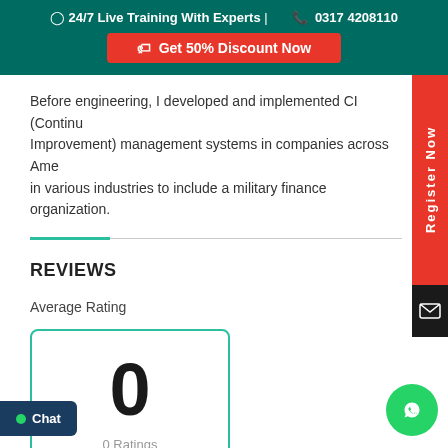24/7 Live Training With Experts | 0317 4208110
Get 50% Discount Now
Before engineering, I developed and implemented CI (Continuous Improvement) management systems in companies across America in various industries to include a military finance organization.
REVIEWS
Average Rating
0
0 Ratings